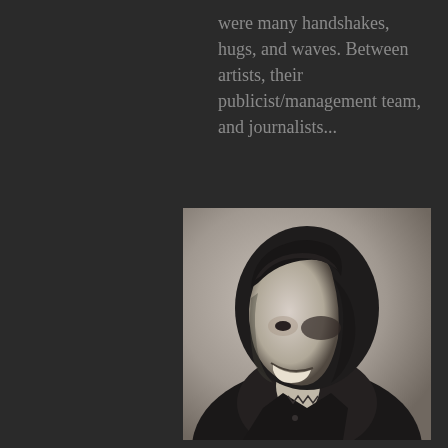were many handshakes, hugs, and waves. Between artists, their publicist/management team, and journalists...
[Figure (photo): Black and white portrait photo of a young man with dark hair, smiling and looking downward, wearing a dark jacket]